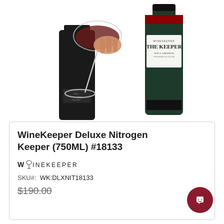[Figure (photo): Product photo showing two dark wine bottles — one with a hand holding a red wine glass resting against it, and one standing upright with a white label reading 'WINEKEEPER THE KEEPER' with a red band at the top, on a white background.]
WineKeeper Deluxe Nitrogen Keeper (750ML) #18133
[Figure (logo): WineKeeper brand logo: W followed by a wine glass/bottle icon, then INEKEEPER in spaced capital letters.]
SKU#:  WK:DLXNIT18133
$190.00